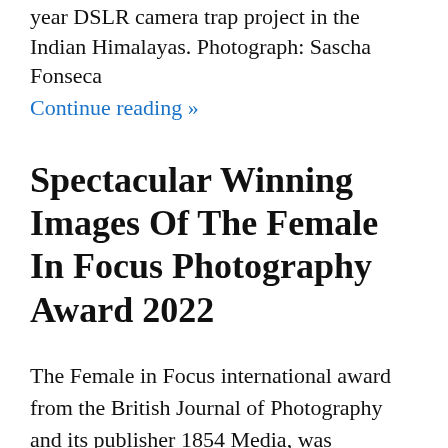year DSLR camera trap project in the Indian Himalayas. Photograph: Sascha Fonseca
Continue reading »
Spectacular Winning Images Of The Female In Focus Photography Award 2022
The Female in Focus international award from the British Journal of Photography and its publisher 1854 Media, was established to champion the work of exceptional female photographers and combat gender inequality in the industry.